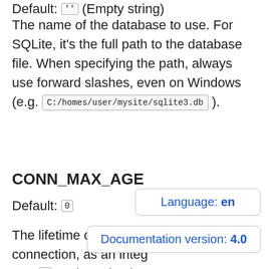Default: '' (Empty string)
The name of the database to use. For SQLite, it's the full path to the database file. When specifying the path, always use forward slashes, even on Windows (e.g. C:/homes/user/mysite/sqlite3.db ).
CONN_MAX_AGE
Default: 0
Language: en
The lifetime of a database connection, as an integer. Use 0 to close database
Documentation version: 4.0